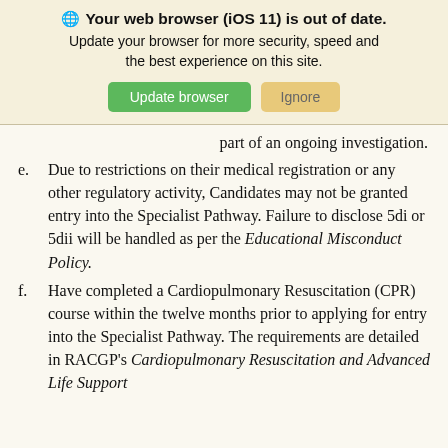[Figure (screenshot): Browser update banner warning that iOS 11 browser is out of date, with 'Update browser' (green) and 'Ignore' (tan) buttons]
part of an ongoing investigation.
e. Due to restrictions on their medical registration or any other regulatory activity, Candidates may not be granted entry into the Specialist Pathway. Failure to disclose 5di or 5dii will be handled as per the Educational Misconduct Policy.
f. Have completed a Cardiopulmonary Resuscitation (CPR) course within the twelve months prior to applying for entry into the Specialist Pathway. The requirements are detailed in RACGP's Cardiopulmonary Resuscitation and Advanced Life Support